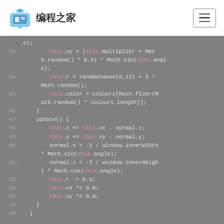编程之家
[Figure (screenshot): Code snippet showing JavaScript particle animation code, lines 83-96, with syntax highlighting on a gray background. Keywords like 'this' are in pink, function names and operators in teal/green.]